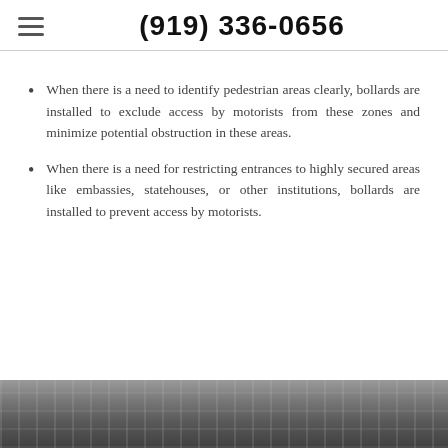(919) 336-0656
When there is a need to identify pedestrian areas clearly, bollards are installed to exclude access by motorists from these zones and minimize potential obstruction in these areas.
When there is a need for restricting entrances to highly secured areas like embassies, statehouses, or other institutions, bollards are installed to prevent access by motorists.
[Figure (photo): A photo strip at the bottom of the page showing what appears to be a metal structure or scaffolding with steel beams and framework.]